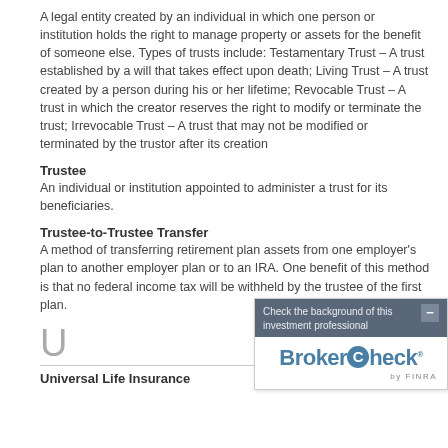A legal entity created by an individual in which one person or institution holds the right to manage property or assets for the benefit of someone else. Types of trusts include: Testamentary Trust – A trust established by a will that takes effect upon death; Living Trust – A trust created by a person during his or her lifetime; Revocable Trust – A trust in which the creator reserves the right to modify or terminate the trust; Irrevocable Trust – A trust that may not be modified or terminated by the trustor after its creation
Trustee
An individual or institution appointed to administer a trust for its beneficiaries.
Trustee-to-Trustee Transfer
A method of transferring retirement plan assets from one employer's plan to another employer plan or to an IRA. One benefit of this method is that no federal income tax will be withheld by the trustee of the first plan.
[Figure (other): BrokerCheck by FINRA widget overlay with text 'Check the background of this investment professional' and BrokerCheck logo]
U
Universal Life Insurance